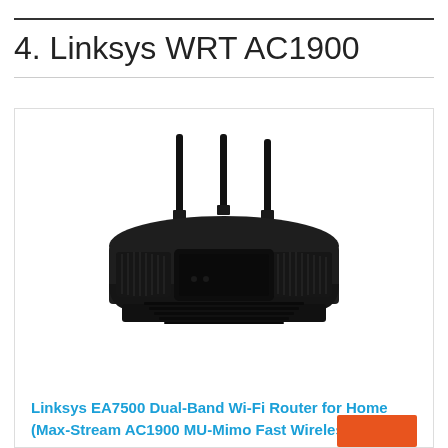4. Linksys WRT AC1900
[Figure (photo): Photo of Linksys EA7500 Dual-Band Wi-Fi Router with three black antennas on a white background inside a product card]
Linksys EA7500 Dual-Band Wi-Fi Router for Home (Max-Stream AC1900 MU-Mimo Fast Wireless Router)